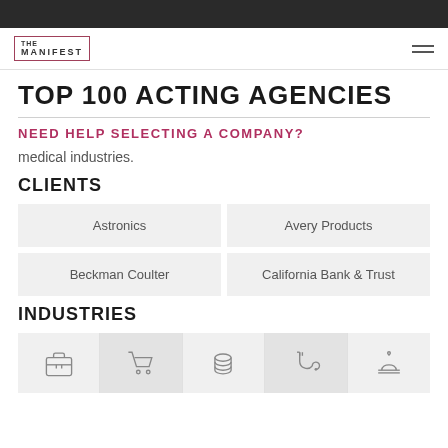THE MANIFEST
TOP 100 ACTING AGENCIES
NEED HELP SELECTING A COMPANY?
medical industries.
CLIENTS
| Astronics | Avery Products |
| Beckman Coulter | California Bank & Trust |
INDUSTRIES
[Figure (infographic): Five industry icons in a row: briefcase (business), shopping cart (retail/e-commerce), coins/money (finance), stethoscope (medical), service bell (hospitality)]